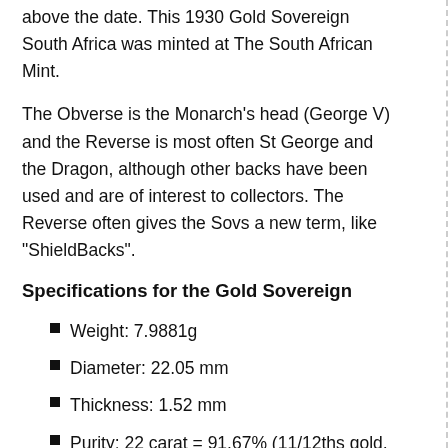above the date. This 1930 Gold Sovereign South Africa was minted at The South African Mint.
The Obverse is the Monarch's head (George V) and the Reverse is most often St George and the Dragon, although other backs have been used and are of interest to collectors. The Reverse often gives the Sovs a new term, like "ShieldBacks".
Specifications for the Gold Sovereign
Weight: 7.9881g
Diameter: 22.05 mm
Thickness: 1.52 mm
Purity: 22 carat = 91.67% (11/12ths gold, 1/12th copper. Adding copper makes the coin more scratch and dent resistant)
Gold Content: 113 grains = 7.3224 g = 0.2354 troy ounce
Face value: £1 = 20 shillings